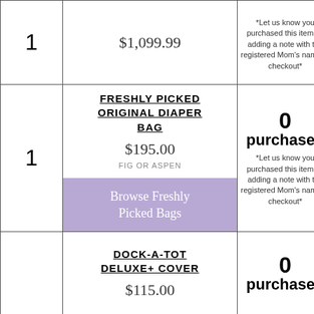| Qty | Product | Status |
| --- | --- | --- |
| 1 | $1,099.99 | *Let us know you purchased this item by adding a note with the registered Mom's name at checkout* |
| 1 | FRESHLY PICKED ORIGINAL DIAPER BAG
$195.00
FIG OR ASPEN
Browse Freshly Picked Bags | 0 purchased
*Let us know you purchased this item by adding a note with the registered Mom's name at checkout* |
|  | DOCK-A-TOT DELUXE+ COVER
$115.00 | 0 purchased |